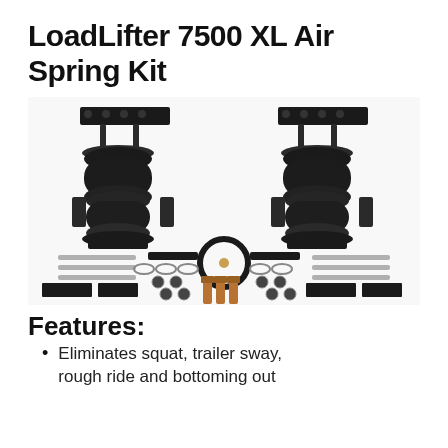LoadLifter 7500 XL Air Spring Kit
[Figure (photo): LoadLifter 7500 XL Air Spring Kit product photo showing two black air spring assemblies with mounting brackets, plus hardware kit including hose, bolts, nuts, plates, and brackets laid out on white background]
Features:
Eliminates squat, trailer sway, rough ride and bottoming out